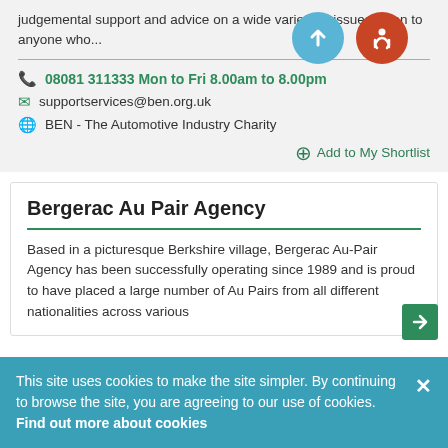judgemental support and advice on a wide variety of issues given to anyone who...
📞 08081 311333 Mon to Fri 8.00am to 8.00pm
✉ supportservices@ben.org.uk
🌐 BEN - The Automotive Industry Charity
Add to My Shortlist
Bergerac Au Pair Agency
Based in a picturesque Berkshire village, Bergerac Au-Pair Agency has been successfully operating since 1989 and is proud to have placed a large number of Au Pairs from all different nationalities across various
This site uses cookies to make the site simpler. By continuing to browse the site, you are agreeing to our use of cookies. Find out more about cookies